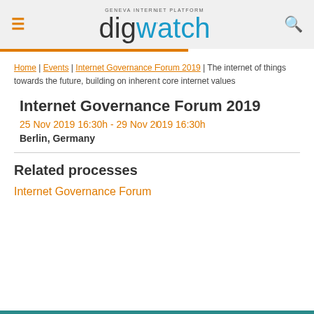digwatch — Geneva Internet Platform
Home | Events | Internet Governance Forum 2019 | The internet of things towards the future, building on inherent core internet values
Internet Governance Forum 2019
25 Nov 2019 16:30h - 29 Nov 2019 16:30h
Berlin, Germany
Related processes
Internet Governance Forum